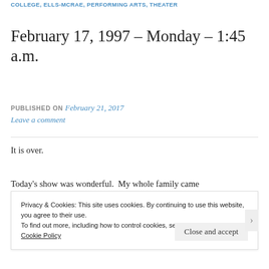COLLEGE, ELLS-MCRAE, PERFORMING ARTS, THEATER
February 17, 1997 – Monday – 1:45 a.m.
PUBLISHED ON February 21, 2017
Leave a comment
It is over.
Today's show was wonderful.  My whole family came
Privacy & Cookies: This site uses cookies. By continuing to use this website, you agree to their use.
To find out more, including how to control cookies, see here:
Cookie Policy
Close and accept